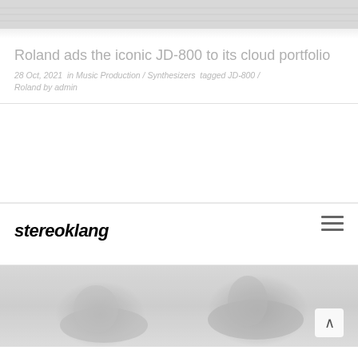[Figure (photo): Top portion of a photo, cropped — appears to show a light-colored indoor scene, possibly a product or interior shot]
Roland ads the iconic JD-800 to its cloud portfolio
28 Oct, 2021  in Music Production / Synthesizers  tagged JD-800 / Roland  by admin
[Figure (logo): Stereoklang logo in bold italic black text]
[Figure (photo): Two dancers in grey clothing performing contemporary dance in a bright white studio. One dancer is lunging low to the ground while the other is arching backwards with arm raised.]
Transform your creativity with SOML 4...